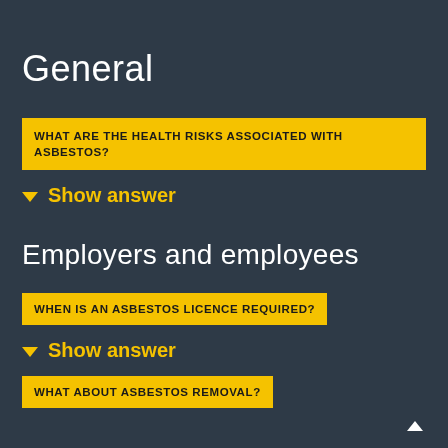General
WHAT ARE THE HEALTH RISKS ASSOCIATED WITH ASBESTOS?
Show answer
Employers and employees
WHEN IS AN ASBESTOS LICENCE REQUIRED?
Show answer
WHAT ABOUT ASBESTOS REMOVAL?